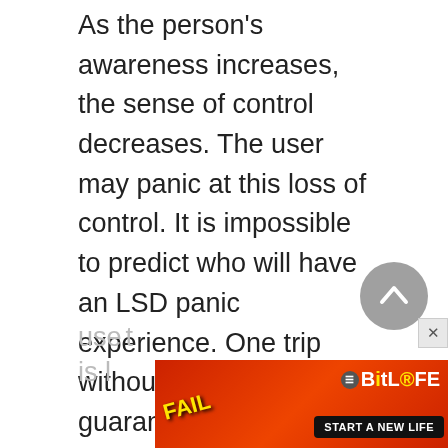As the person's awareness increases, the sense of control decreases. The user may panic at this loss of control. It is impossible to predict who will have an LSD panic experience. One trip without panic does not guarantee that the next trip will also be without panic. Often, people take LSD in groups or with a guide to help lessen the feeling of losing control.
Some effects of LSD are alike in every
use... t
is l...
[Figure (screenshot): BitLife advertisement banner with red background, 'FAIL' text, animated character, BitLife logo, and 'START A NEW LIFE' button. Partially visible at bottom of page.]